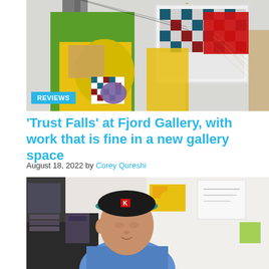[Figure (photo): Colorful art installation with geometric shapes in green, yellow, gray, and a checkered pattern artwork on white background]
REVIEWS
‘Trust Falls’ at Fjord Gallery, with work that is fine in a new gallery space
August 18, 2022 by Corey Qureshi
[Figure (photo): Young man wearing a black cap with a teal brim, looking downward in a studio/workspace environment with colorful items in the background]